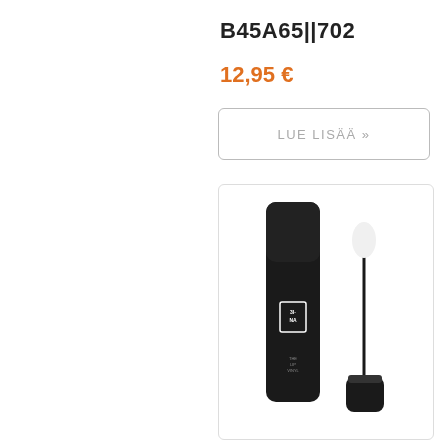B45A65||702
12,95 €
LUE LISÄÄ »
[Figure (photo): Product photo of a black lip gloss tube and applicator wand with white tip. The tube shows the brand logo '3INA' and text 'THE LIP VINYL'. Both the closed tube and open applicator are displayed side by side against a white background.]